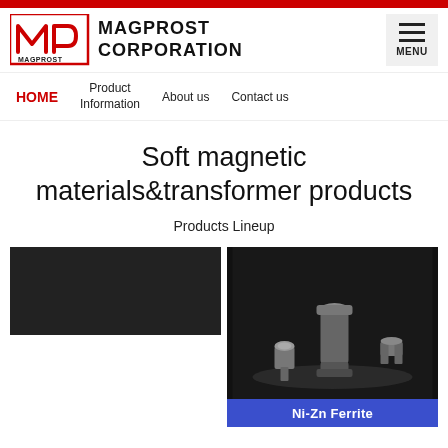[Figure (logo): Magprost Corporation logo with red M symbol and brand name text]
HOME  Product Information  About us  Contact us
Soft magnetic materials&transformer products
Products Lineup
[Figure (photo): Dark background product image (left card, appears blank/dark)]
[Figure (photo): Ni-Zn Ferrite product components on dark background - small magnetic ferrite parts and cylinders]
Ni-Zn Ferrite